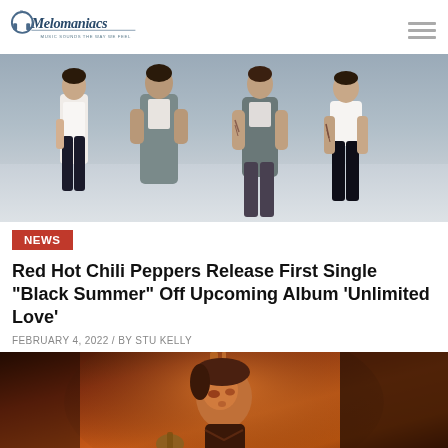The Melomaniacs - Music Sounds The Way We Feel
[Figure (photo): Four band members of Red Hot Chili Peppers posing against a grey background]
NEWS
Red Hot Chili Peppers Release First Single “Black Summer” Off Upcoming Album ‘Unlimited Love’
FEBRUARY 4, 2022 / BY STU KELLY
[Figure (photo): Red Hot Chili Peppers performer on stage bathed in warm orange/red lighting, close-up shot with microphone visible]